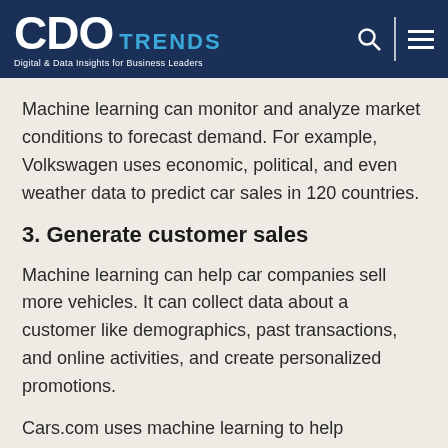CDO TRENDS — Digital & Data Insights for Business Leaders
Machine learning can monitor and analyze market conditions to forecast demand. For example, Volkswagen uses economic, political, and even weather data to predict car sales in 120 countries.
3. Generate customer sales
Machine learning can help car companies sell more vehicles. It can collect data about a customer like demographics, past transactions, and online activities, and create personalized promotions.
Cars.com uses machine learning to help customize the car search process. It matches buyers with cars